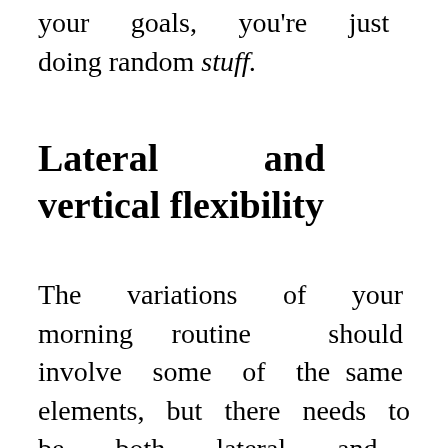your goals, you're just doing random stuff.
Lateral and vertical flexibility
The variations of your morning routine should involve some of the same elements, but there needs to be both lateral and vertical flexibility.
What I mean by that is that...